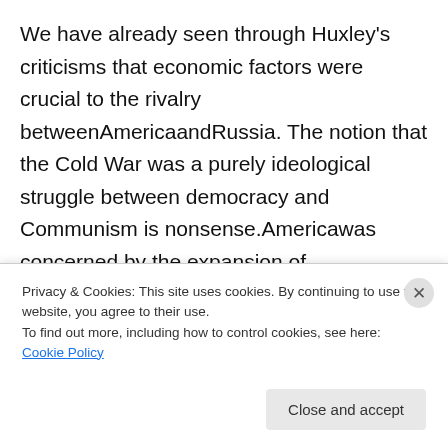We have already seen through Huxley's criticisms that economic factors were crucial to the rivalry betweenAmericaandRussia. The notion that the Cold War was a purely ideological struggle between democracy and Communism is nonsense.Americawas concerned by the expansion of Communism because it was a system of governance that would ultimately be controlled and exploited by the Russians. The primary motivation for the Cold War was not a moral disapproval of Communism and its failings, but to sustain an economic system and therefore a way of life. The Second World War merely
Privacy & Cookies: This site uses cookies. By continuing to use this website, you agree to their use.
To find out more, including how to control cookies, see here: Cookie Policy